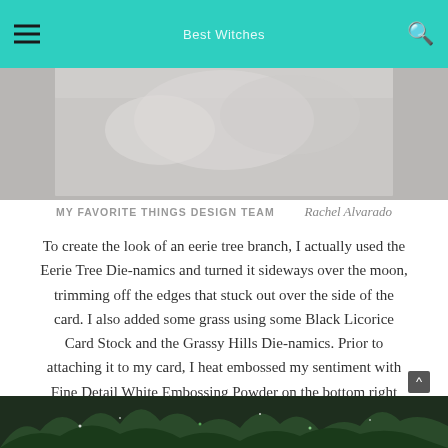Best Witches
[Figure (photo): Top portion of a photo showing a grey/silver textured background, partially visible crafting scene]
MY FAVORITE THINGS DESIGN TEAM
Rachel Alvarado
To create the look of an eerie tree branch, I actually used the Eerie Tree Die-namics and turned it sideways over the moon, trimming off the edges that stuck out over the side of the card. I also added some grass using some Black Licorice Card Stock and the Grassy Hills Die-namics. Prior to attaching it to my card, I heat embossed my sentiment with Fine Detail White Embossing Powder on the bottom right hand portion of the grass.
[Figure (photo): Bottom portion of a photo showing dark green grass/foliage with sparkle effects on a dark background]